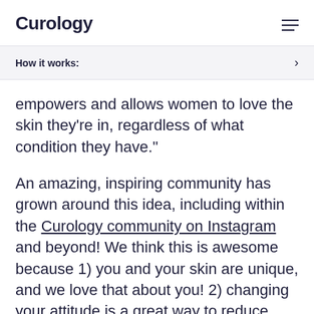Curology
How it works:
empowers and allows women to love the skin they’re in, regardless of what condition they have.”
An amazing, inspiring community has grown around this idea, including within the Curology community on Instagram and beyond! We think this is awesome because 1) you and your skin are unique, and we love that about you! 2) changing your attitude is a great way to reduce stress — which can